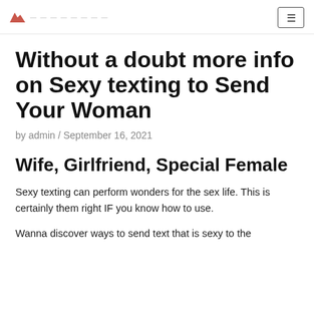admin / [logo text blurred]
Without a doubt more info on Sexy texting to Send Your Woman
by admin / September 16, 2021
Wife, Girlfriend, Special Female
Sexy texting can perform wonders for the sex life. This is certainly them right IF you know how to use.
Wanna discover ways to send text that is sexy to the